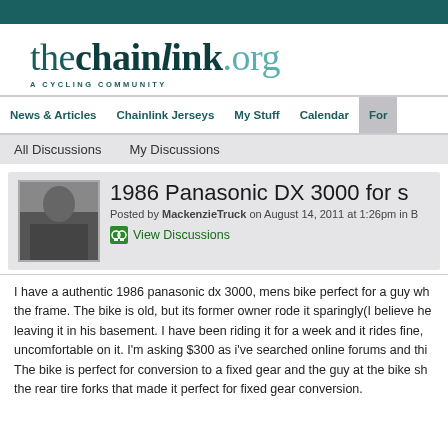[Figure (logo): The Chainlink logo - thechainlink.org with tagline 'A CYCLING COMMUNITY']
News & Articles | Chainlink Jerseys | My Stuff | Calendar | For...
All Discussions  My Discussions
1986 Panasonic DX 3000 for s
Posted by MackenzieTruck on August 14, 2011 at 1:26pm in B
View Discussions
I have a authentic 1986 panasonic dx 3000, mens bike perfect for a guy wh the frame. The bike is old, but its former owner rode it sparingly(I believe he leaving it in his basement. I have been riding it for a week and it rides fine, uncomfortable on it. I'm asking $300 as i've searched online forums and thi The bike is perfect for conversion to a fixed gear and the guy at the bike sh the rear tire forks that made it perfect for fixed gear conversion.